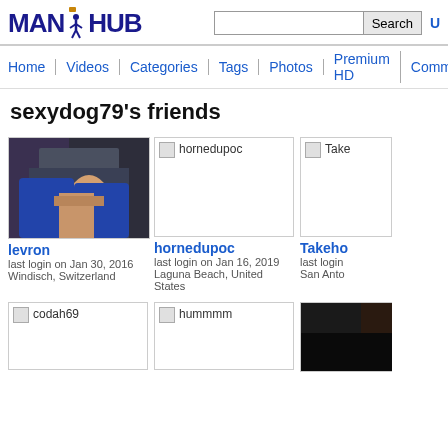MANHUB
Search | U
Home | Videos | Categories | Tags | Photos | Premium HD | Communit
sexydog79's friends
[Figure (photo): levron profile photo showing person in jeans]
levron
last login on Jan 30, 2016
Windisch, Switzerland
[Figure (photo): hornedupoc broken image placeholder]
hornedupoc
last login on Jan 16, 2019
Laguna Beach, United States
[Figure (photo): Takeh- broken image placeholder (partial)]
Takeho
last login
San Anto
[Figure (photo): codah69 broken image placeholder]
[Figure (photo): hummmm broken image placeholder]
[Figure (photo): partial photo bottom right]